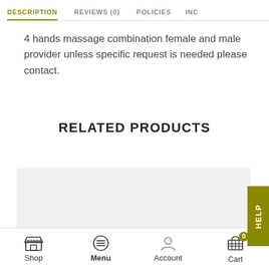DESCRIPTION | REVIEWS (0) | POLICIES | INC...
4 hands massage combination female and male provider unless specific request is needed please contact.
RELATED PRODUCTS
[Figure (other): Product image placeholder (grey rectangle)]
Shop | Menu | Account | Cart (0)